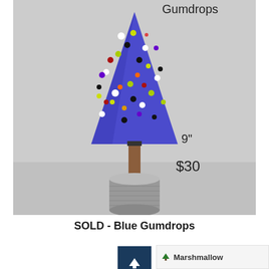[Figure (photo): A blue glass Christmas tree decorated with colorful gumdrop-style glass dots, mounted on a wooden dowel in a cylindrical concrete or stone base. Text overlay shows 'Gumdrops' at top, '9"' and '$30' on the right side.]
SOLD - Blue Gumdrops
[Figure (other): Dark teal navigation button with an upward-pointing white arrow]
Marshmallow